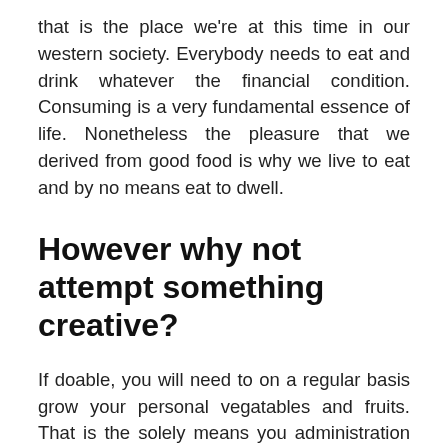that is the place we're at this time in our western society. Everybody needs to eat and drink whatever the financial condition. Consuming is a very fundamental essence of life. Nonetheless the pleasure that we derived from good food is why we live to eat and by no means eat to dwell.
However why not attempt something creative?
If doable, you will need to on a regular basis grow your personal vegatables and fruits. That is the solely means you administration how the foods have been grown, the irrigation strategies used, and what, if any pesticides have been sprayed on the foods. 1. Measure temperature AT THE GRATE. So many people use the thermometer